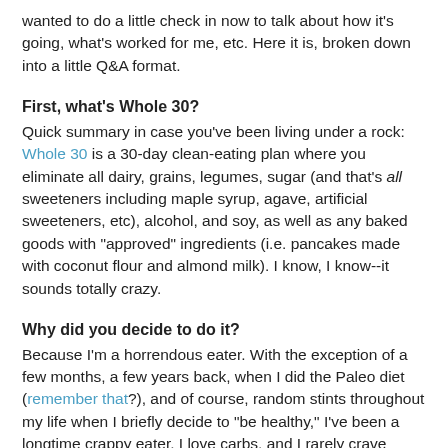wanted to do a little check in now to talk about how it's going, what's worked for me, etc. Here it is, broken down into a little Q&A format.
First, what's Whole 30?
Quick summary in case you've been living under a rock: Whole 30 is a 30-day clean-eating plan where you eliminate all dairy, grains, legumes, sugar (and that's all sweeteners including maple syrup, agave, artificial sweeteners, etc), alcohol, and soy, as well as any baked goods with "approved" ingredients (i.e. pancakes made with coconut flour and almond milk). I know, I know--it sounds totally crazy.
Why did you decide to do it?
Because I'm a horrendous eater. With the exception of a few months, a few years back, when I did the Paleo diet (remember that?), and of course, random stints throughout my life when I briefly decide to "be healthy," I've been a longtime crappy eater. I love carbs, and I rarely crave vegetables or meats. I'm also in a long-term torrid love affair with dairy. I would be perfectly happy spending every day